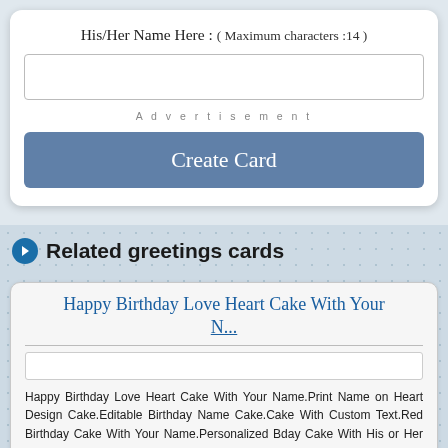His/Her Name Here : ( Maximum characters :14 )
Advertisement
Create Card
Related greetings cards
Happy Birthday Love Heart Cake With Your Name
Happy Birthday Love Heart Cake With Your Name.Print Name on Heart Design Cake.Editable Birthday Name Cake.Cake With Custom Text.Red Birthday Cake With Your Name.Personalized Bday Cake With His or Her Name.Generate Text on Love Couple Cake.Customized Name Cake With